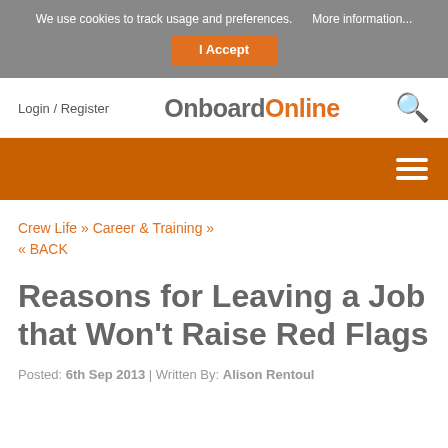We use cookies to track usage and preferences.  More information...  I Accept
Login / Register  OnboardOnline  [search icon]
[Figure (other): Orange navigation bar with hamburger menu icon]
Crew Life » Career & Training »
« BACK
Reasons for Leaving a Job that Won't Raise Red Flags
Posted: 6th Sep 2013 | Written By: Alison Rentoul